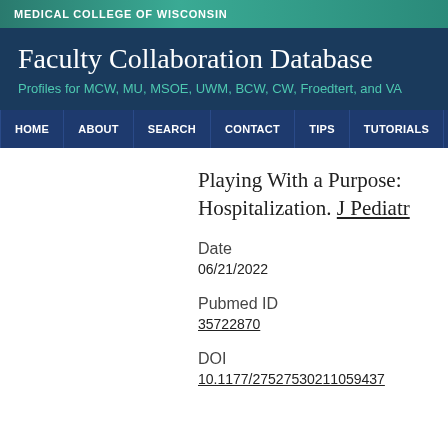MEDICAL COLLEGE OF WISCONSIN
Faculty Collaboration Database
Profiles for MCW, MU, MSOE, UWM, BCW, CW, Froedtert, and VA
HOME  ABOUT  SEARCH  CONTACT  TIPS  TUTORIALS  BROWS
Playing With a Purpose: Hospitalization. J Pediatr
Date
06/21/2022
Pubmed ID
35722870
DOI
10.1177/27527530211059437